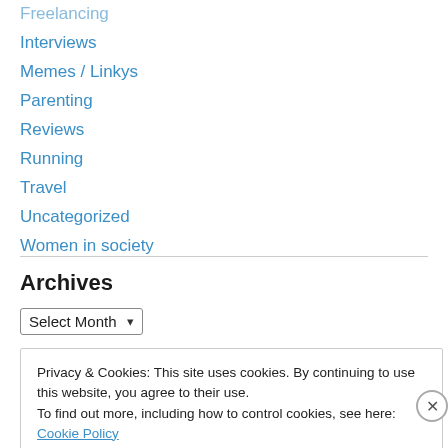Interviews
Memes / Linkys
Parenting
Reviews
Running
Travel
Uncategorized
Women in society
Archives
Select Month
Privacy & Cookies: This site uses cookies. By continuing to use this website, you agree to their use. To find out more, including how to control cookies, see here: Cookie Policy
Close and accept